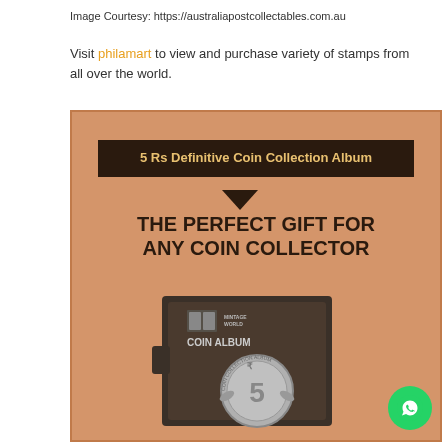Image Courtesy: https://australiapostcollectables.com.au
Visit philamart to view and purchase variety of stamps from all over the world.
[Figure (photo): Advertisement for 5 Rs Definitive Coin Collection Album - The Perfect Gift For Any Coin Collector. Shows a dark brown coin album box with a 5 rupee coin embossed on the front, on a peach/salmon colored background. A WhatsApp button appears in the bottom right corner.]